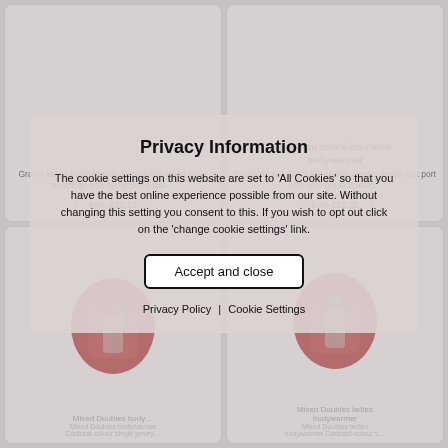Gravel ladies bodywarmer. Detachable hood.Inner stormflap with chinguard.Elast…
from £21.13
Sandton men's insulated bodywarmer
Packable into lower left pocket.Interior media exit port with cord guide.Elastic…
from £22.25
[Figure (photo): Red bodywarmer jacket product photo, left card]
Mixed Doubles bodywarmer
Mixed Doubles bodywarmer Contrast-colour single jersey…
[Figure (photo): Red bodywarmer jacket product photo, right card]
Mixed Doubles ladies bodywarmer
Mixed Doubles ladies bodywarmer Contrast-colour single jersey…
Privacy Information
The cookie settings on this website are set to 'All Cookies' so that you have the best online experience possible from our site. Without changing this setting you consent to this. If you wish to opt out click on the 'change cookie settings' link.
Accept and close
Privacy Policy | Cookie Settings